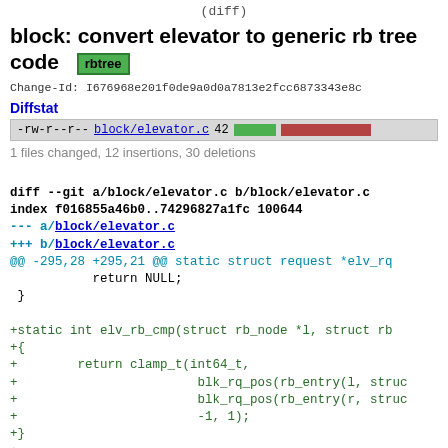(diff)
block: convert elevator to generic rb tree code  [rbtree]
Change-Id: I676968e201f0de9a0d0a7813e2fcc6873343e8c...
Diffstat
| permissions | filename | count | bar |
| --- | --- | --- | --- |
| -rw-r--r-- | block/elevator.c | 42 | [green bar][red bar] |
1 files changed, 12 insertions, 30 deletions
diff --git a/block/elevator.c b/block/elevator.c
index f016855a46b0..74296827a1fc 100644
--- a/block/elevator.c
+++ b/block/elevator.c
@@ -295,28 +295,21 @@ static struct request *elv_rq
            return NULL;
  }

+static int elv_rb_cmp(struct rb_node *l, struct rb
+{
+        return clamp_t(int64_t,
+                        blk_rq_pos(rb_entry(l, struc
+                        blk_rq_pos(rb_entry(r, struc
+                        -1, 1);
+}
+
 /*